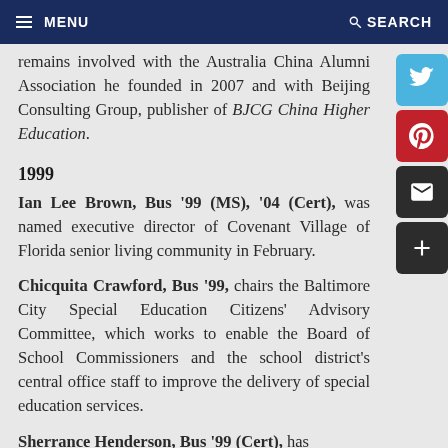MENU   SEARCH
remains involved with the Australia China Alumni Association he founded in 2007 and with Beijing Consulting Group, publisher of BJCG China Higher Education.
1999
Ian Lee Brown, Bus '99 (MS), '04 (Cert), was named executive director of Covenant Village of Florida senior living community in February.
Chicquita Crawford, Bus '99, chairs the Baltimore City Special Education Citizens' Advisory Committee, which works to enable the Board of School Commissioners and the school district's central office staff to improve the delivery of special education services.
Sherrance Henderson, Bus '99 (Cert), has